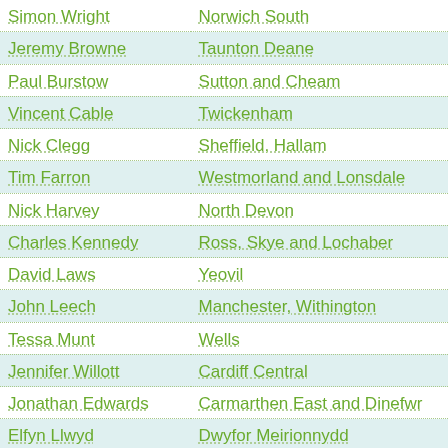| Name | Constituency |
| --- | --- |
| Simon Wright | Norwich South |
| Jeremy Browne | Taunton Deane |
| Paul Burstow | Sutton and Cheam |
| Vincent Cable | Twickenham |
| Nick Clegg | Sheffield, Hallam |
| Tim Farron | Westmorland and Lonsdale |
| Nick Harvey | North Devon |
| Charles Kennedy | Ross, Skye and Lochaber |
| David Laws | Yeovil |
| John Leech | Manchester, Withington |
| Tessa Munt | Wells |
| Jennifer Willott | Cardiff Central |
| Jonathan Edwards | Carmarthen East and Dinefwr |
| Elfyn Llwyd | Dwyfor Meirionnydd |
| Hywel Williams | Arfon |
| Mark Durkan | Foyle |
| Alasdair McDonnell | Belfast South |
| Margaret Ritchie | South Down |